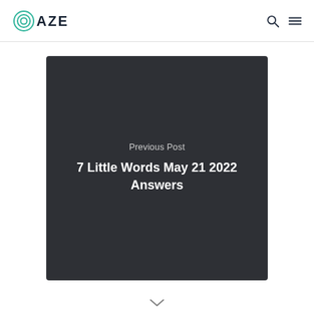DAZE
[Figure (illustration): Dark card with Previous Post label and title '7 Little Words May 21 2022 Answers']
Previous Post
7 Little Words May 21 2022 Answers